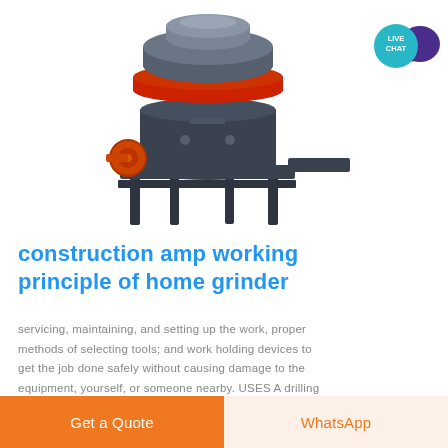[Figure (photo): Industrial cone crusher / grinder machine — dark grey metal body with red accent ring at top, mounted on a steel frame with orange flywheel on the side.]
[Figure (infographic): Live Chat button — teal circle with 'LIVE CHAT' text and a dark purple speech bubble icon.]
construction amp working principle of home grinder
servicing, maintaining, and setting up the work, proper methods of selecting tools; and work holding devices to get the job done safely without causing damage to the equipment, yourself, or someone nearby. USES A drilling
Get a Quote
WhatsApp